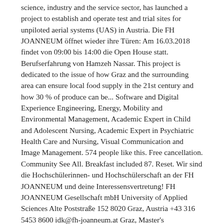science, industry and the service sector, has launched a project to establish and operate test and trial sites for unpiloted aerial systems (UAS) in Austria. Die FH JOANNEUM öffnet wieder ihre Türen: Am 16.03.2018 findet von 09:00 bis 14:00 die Open House statt. Berufserfahrung von Hamzeh Nassar. This project is dedicated to the issue of how Graz and the surrounding area can ensure local food supply in the 21st century and how 30 % of produce can be... Software and Digital Experience Engineering, Energy, Mobility and Environmental Management, Academic Expert in Child and Adolescent Nursing, Academic Expert in Psychiatric Health Care and Nursing, Visual Communication and Image Management. 574 people like this. Free cancellation. Community See All. Breakfast included 87. Reset. Wir sind die Hochschülerinnen- und Hochschülerschaft an der FH JOANNEUM und deine Interessensvertretung! FH JOANNEUM Gesellschaft mbH University of Applied Sciences Alte Poststraße 152 8020 Graz, Austria +43 316 5453 8600 idk@fh-joanneum.at Graz, Master's Programme, Email FH Joanneum. 1580mm. Log In. Create New Account. FH Joanneum Google's Little Box Challenge: o Managing timeline and coordinating resources. FH JOANNEUM Architektur. 586 people follow this. FH Joanneum is the